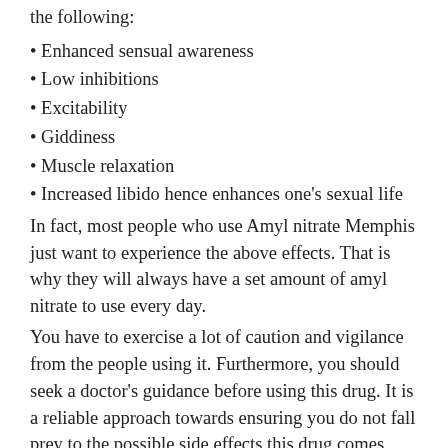the following:
Enhanced sensual awareness
Low inhibitions
Excitability
Giddiness
Muscle relaxation
Increased libido hence enhances one's sexual life
In fact, most people who use Amyl nitrate Memphis just want to experience the above effects. That is why they will always have a set amount of amyl nitrate to use every day.
You have to exercise a lot of caution and vigilance from the people using it. Furthermore, you should seek a doctor's guidance before using this drug. It is a reliable approach towards ensuring you do not fall prey to the possible side effects this drug comes with.